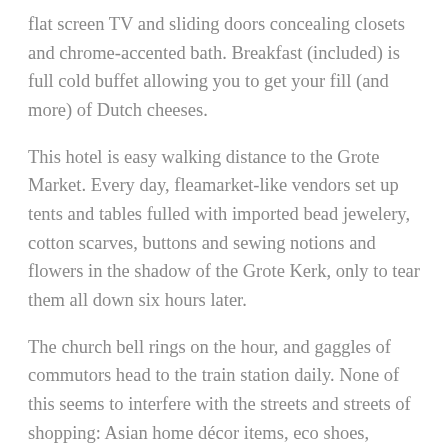flat screen TV and sliding doors concealing closets and chrome-accented bath. Breakfast (included) is full cold buffet allowing you to get your fill (and more) of Dutch cheeses.
This hotel is easy walking distance to the Grote Market. Every day, fleamarket-like vendors set up tents and tables fulled with imported bead jewelery, cotton scarves, buttons and sewing notions and flowers in the shadow of the Grote Kerk, only to tear them all down six hours later.
The church bell rings on the hour, and gaggles of commutors head to the train station daily. None of this seems to interfere with the streets and streets of shopping: Asian home décor items, eco shoes, trendy skaterwear, endless boutiques of dresses, shirts, and narrow leg jeans. Hip residents walk, or